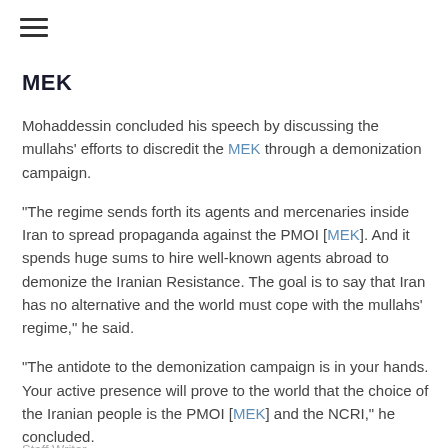MEK
Mohaddessin concluded his speech by discussing the mullahs' efforts to discredit the MEK through a demonization campaign.
"The regime sends forth its agents and mercenaries inside Iran to spread propaganda against the PMOI [MEK]. And it spends huge sums to hire well-known agents abroad to demonize the Iranian Resistance. The goal is to say that Iran has no alternative and the world must cope with the mullahs' regime," he said.
"The antidote to the demonization campaign is in your hands. Your active presence will prove to the world that the choice of the Iranian people is the PMOI [MEK] and the NCRI," he concluded.
Staff Writer